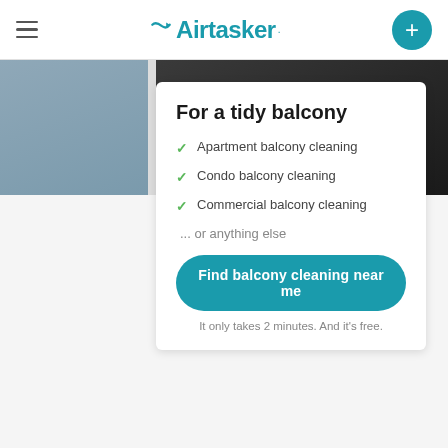[Figure (logo): Airtasker logo with trowel/arrow icon in teal, hamburger menu on left, teal plus button on right]
For a tidy balcony
Apartment balcony cleaning
Condo balcony cleaning
Commercial balcony cleaning
... or anything else
Find balcony cleaning near me
It only takes 2 minutes. And it's free.